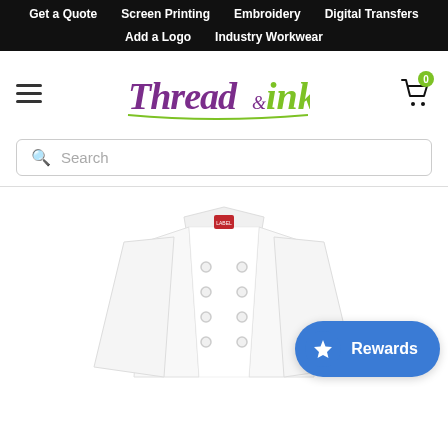Get a Quote  Screen Printing  Embroidery  Digital Transfers  Add a Logo  Industry Workwear
[Figure (logo): Thread&ink brand logo with purple cursive 'Thread' and green 'ink' text]
Search
[Figure (photo): White chef jacket with double-breasted buttons and red label at collar, displayed on a model]